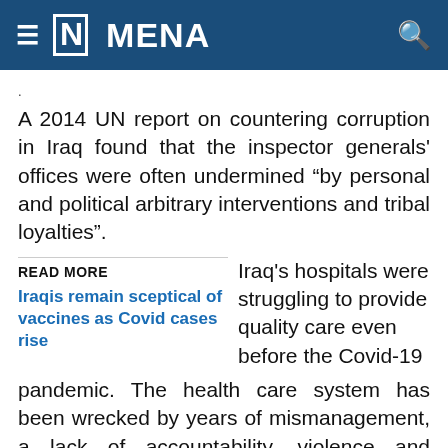[N] MENA
A 2014 UN report on countering corruption in Iraq found that the inspector generals' offices were often undermined “by personal and political arbitrary interventions and tribal loyalties”.
READ MORE
Iraqis remain sceptical of vaccines as Covid cases rise
Iraq's hospitals were struggling to provide quality care even before the Covid-19 pandemic. The health care system has been wrecked by years of mismanagement, a lack of accountability, violence and factionalism since